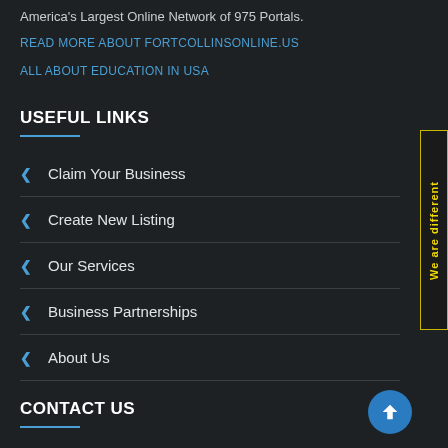America's Largest Online Network of 975 Portals.
READ MORE ABOUT FORTCOLLINSONLINE.US
ALL ABOUT EDUCATION IN USA
USEFUL LINKS
Claim Your Business
Create New Listing
Our Services
Business Partnerships
About Us
CONTACT US